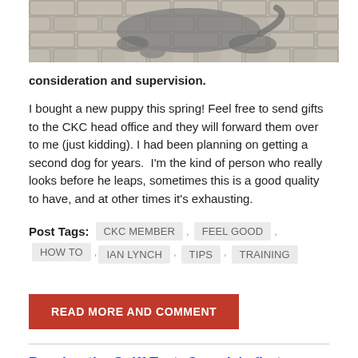[Figure (photo): Partial view of a grey cat lying on paving stones, cropped at the top of the page]
consideration and supervision.
I bought a new puppy this spring! Feel free to send gifts to the CKC head office and they will forward them over to me (just kidding). I had been planning on getting a second dog for years.  I'm the kind of person who really looks before he leaps, sometimes this is a good quality to have, and at other times it's exhausting.
Post Tags:  CKC MEMBER ,  FEEL GOOD ,  HOW TO ,  IAN LYNCH ,  TIPS ,  TRAINING
READ MORE AND COMMENT
Passing the Sniff Test: Canada's first